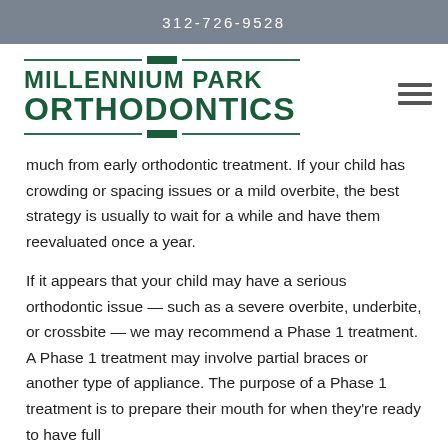312-726-9528
[Figure (logo): Millennium Park Orthodontics logo with decorative horizontal lines and center rectangle accent in dark green]
much from early orthodontic treatment. If your child has crowding or spacing issues or a mild overbite, the best strategy is usually to wait for a while and have them reevaluated once a year.
If it appears that your child may have a serious orthodontic issue — such as a severe overbite, underbite, or crossbite — we may recommend a Phase 1 treatment. A Phase 1 treatment may involve partial braces or another type of appliance. The purpose of a Phase 1 treatment is to prepare their mouth for when they're ready to have full